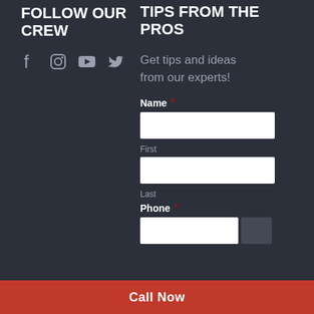FOLLOW OUR CREW
[Figure (infographic): Social media icons: Facebook, Instagram, YouTube, Twitter in grey]
TIPS FROM THE PROS
Get tips and ideas from our experts!
Name * First Last Phone *
Call Now